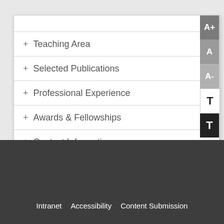+ Teaching Area
+ Selected Publications
+ Professional Experience
+ Awards & Fellowships
+ Contact Information
Intranet   Accessibility   Content Submission